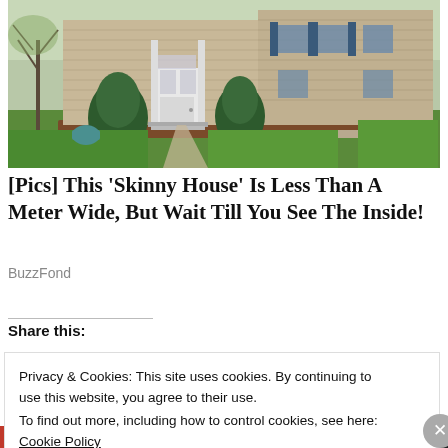[Figure (photo): Exterior photo of a two-story beige/tan colonial-style house with white door, evergreen shrubs, and green lawn on a spring day.]
[Pics] This 'Skinny House' Is Less Than A Meter Wide, But Wait Till You See The Inside!
BuzzFond
Share this:
Privacy & Cookies: This site uses cookies. By continuing to use this website, you agree to their use.
To find out more, including how to control cookies, see here: Cookie Policy
Close and accept